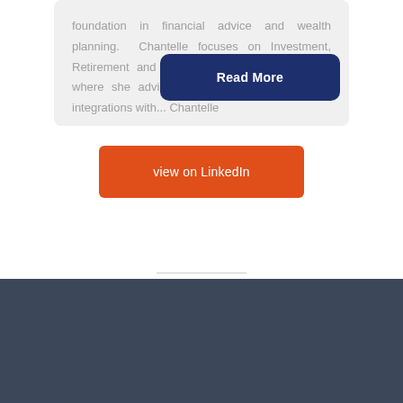foundation in financial advice and wealth planning. Chantelle focuses on Investment, Retirement and Succession/ Estate Planning, where she advi... generating and marketing int... Chantelle
Read More
view on LinkedIn
Sign up to our newsletter!
Keep updated on how best to create wealth and protect it for the future.